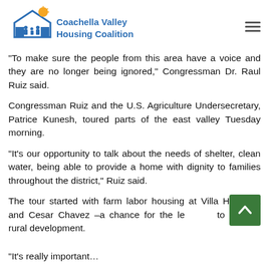[Figure (logo): Coachella Valley Housing Coalition logo with house icon and family silhouettes, blue color scheme]
“To make sure the people from this area have a voice and they are no longer being ignored,” Congressman Dr. Raul Ruiz said.
Congressman Ruiz and the U.S. Agriculture Undersecretary, Patrice Kunesh, toured parts of the east valley Tuesday morning.
“It’s our opportunity to talk about the needs of shelter, clean water, being able to provide a home with dignity to families throughout the district,” Ruiz said.
The tour started with farm labor housing at Villa Hermosa and Cesar Chavez –a chance for the leaders to discuss rural development.
“It’s really important…